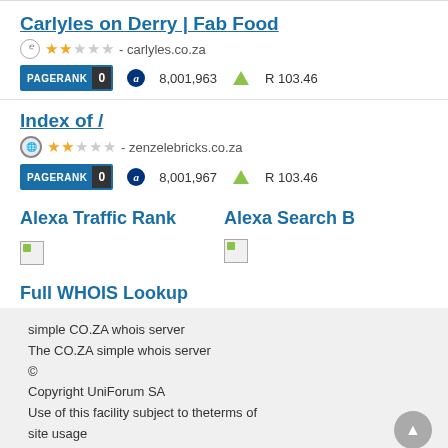Carlyles on Derry | Fab Food
carlyles.co.za — PageRank 0, 8,001,963, R 103.46
Index of /
zenzelebricks.co.za — PageRank 0, 8,001,967, R 103.46
Alexa Traffic Rank
Alexa Search B
[Figure (other): Broken image placeholder left]
[Figure (other): Broken image placeholder right]
Full WHOIS Lookup
simple CO.ZA whois server
The CO.ZA simple whois server
©
Copyright UniForum SA
Use of this facility subject to theterms of site usage